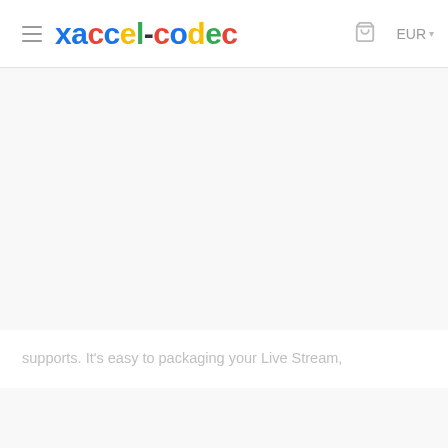xaccel-codec  EUR
supports. It's easy to packaging your Live Stream,